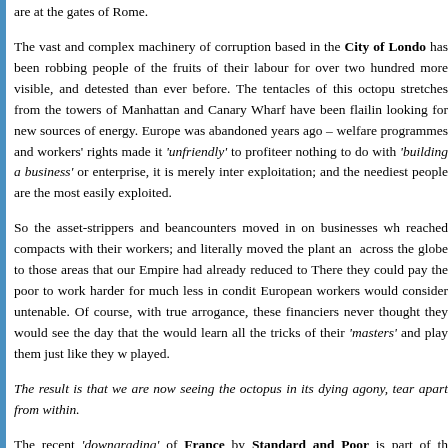are at the gates of Rome.
The vast and complex machinery of corruption based in the City of London has been robbing people of the fruits of their labour for over two hundred more visible, and detested than ever before. The tentacles of this octopus stretches from the towers of Manhattan and Canary Wharf have been flailing looking for new sources of energy. Europe was abandoned years ago – welfare programmes and workers' rights made it 'unfriendly' to profiteers nothing to do with 'building a business' or enterprise, it is merely inter exploitation; and the neediest people are the most easily exploited.
So the asset-strippers and beancounters moved in on businesses wh reached compacts with their workers; and literally moved the plant and across the globe to those areas that our Empire had already reduced to There they could pay the poor to work harder for much less in conditions European workers would consider untenable. Of course, with true arrogance, these financiers never thought they would see the day that the would learn all the tricks of their 'masters' and play them just like they we played.
The result is that we are now seeing the octopus in its dying agony, tearing apart from within.
The recent 'downgrading' of France by Standard and Poor is part of the attempt to 'fix the game'; S&P is no more than a deniable agency controlled US Treasury – its part in the 2008 Crash is in no doubt. It was giving the Iceland AAA+ status only days before they crashed in spectacular fashion was revealed that their debts, running into hundreds of billions, far